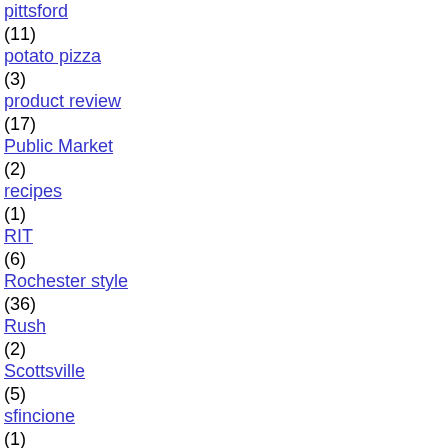pittsford (11)
potato pizza (3)
product review (17)
Public Market (2)
recipes (1)
RIT (6)
Rochester style (36)
Rush (2)
Scottsville (5)
sfincione (1)
sheet pizza (1)
Sicilian (24)
site review (1)